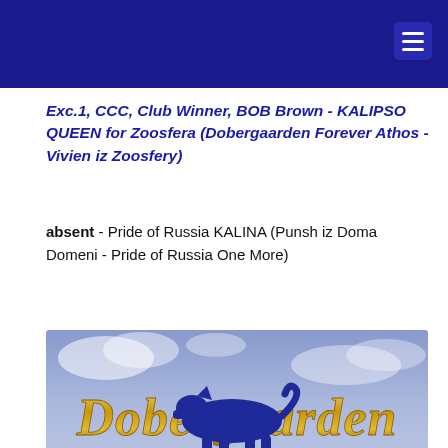Navigation header bar with hamburger menu
Exc.1, CCC, Club Winner, BOB Brown - KALIPSO QUEEN for Zoosfera (Dobergaarden Forever Athos - Vivien iz Zoosfery)
absent - Pride of Russia KALINA (Punsh iz Doma Domeni - Pride of Russia One More)
[Figure (logo): Dobergaarden Forever logo — gold stylized text 'Dobergaarden' with 'FOREVER' below, on a light blue cloudy sky background]
[Figure (illustration): Blue silhouette illustration of a Doberman dog, partial view at bottom of page]